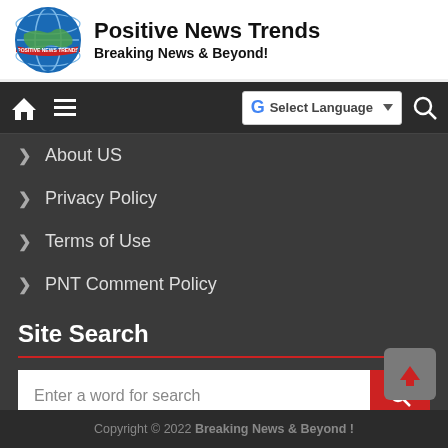[Figure (logo): Globe logo with 'Positive News Trends' text and red banner around the globe]
Positive News Trends
Breaking News & Beyond!
[Figure (screenshot): Navigation bar with home icon, hamburger menu, Google Translate language selector, and search icon]
> About US
> Privacy Policy
> Terms of Use
> PNT Comment Policy
Site Search
Enter a word for search
Copyright © 2022 Breaking News & Beyond !